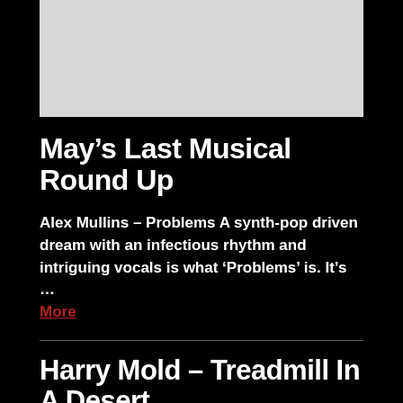[Figure (other): Gray image placeholder box at top of page]
May's Last Musical Round Up
Alex Mullins – Problems A synth-pop driven dream with an infectious rhythm and intriguing vocals is what 'Problems' is. It's … More
Harry Mold – Treadmill In A Desert
Harry Mold goes for the middle ground with his new single 'Treadmill In A Desert', his steadily up beat indie … More